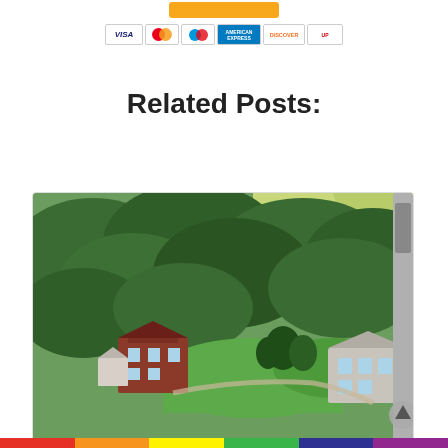[Figure (other): Payment method icons: orange button at top, followed by credit card logos: VISA, Mastercard, Maestro, American Express, Discover, UnionPay]
Related Posts:
[Figure (photo): Aerial photograph of a college or university campus surrounded by dense green trees and forests, with red-brick buildings visible in the lower-left and right sections, green lawns, and rolling hills in the background]
[Figure (other): Multicolor horizontal bar at the bottom of the page: red, orange, yellow, green, blue, purple segments]